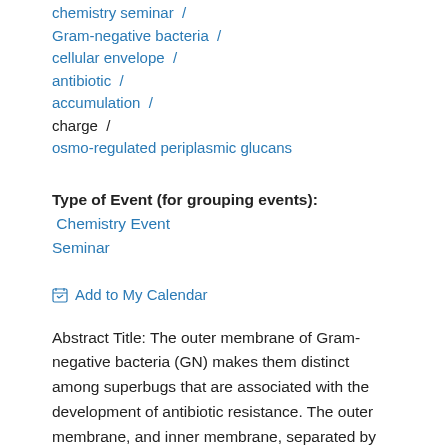chemistry seminar /
Gram-negative bacteria /
cellular envelope /
antibiotic /
accumulation /
charge /
osmo-regulated periplasmic glucans
Type of Event (for grouping events): Chemistry Event Seminar
Add to My Calendar
Abstract Title: The outer membrane of Gram-negative bacteria (GN) makes them distinct among superbugs that are associated with the development of antibiotic resistance. The outer membrane, and inner membrane, separated by the periplasm, form a